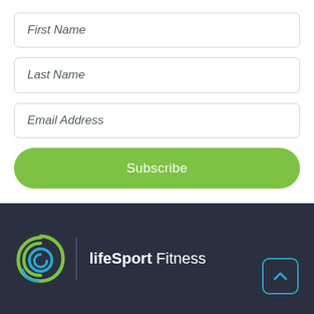First Name
Last Name
Email Address
Subscribe
[Figure (logo): lifeSport Fitness logo with spiral circle icon in green and blue, a vertical divider line, and text 'lifeSport Fitness' in white on dark background]
[Figure (other): Blue rounded square button with upward-pointing chevron arrow icon]